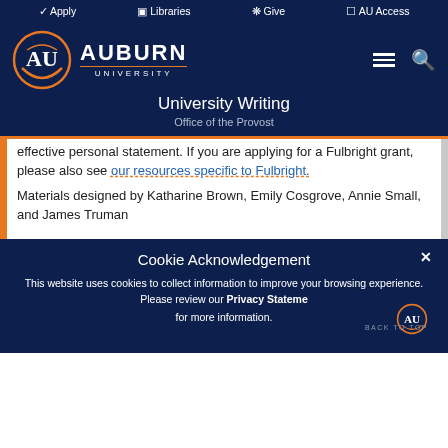Apply | Libraries | Give | AU Access
[Figure (logo): Auburn University logo with AU interlocked letters in orange and white, with navigation hamburger menu and search icon]
University Writing
Office of the Provost
effective personal statement. If you are applying for a Fulbright grant, please also see our resources specific to Fulbright.
Materials designed by Katharine Brown, Emily Cosgrove, Annie Small, and James Truman
Cookie Acknowledgement
This website uses cookies to collect information to improve your browsing experience. Please review our Privacy Statement for more information.